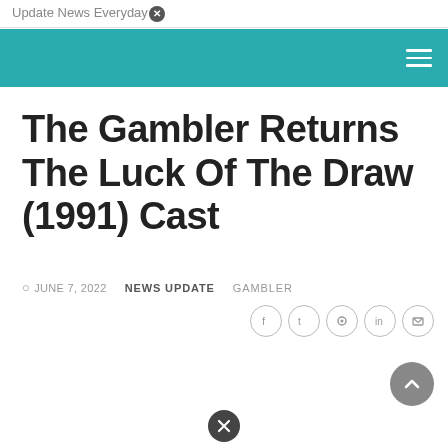Update News Everyday
The Gambler Returns The Luck Of The Draw (1991) Cast
JUNE 7, 2022   NEWS UPDATE   GAMBLER